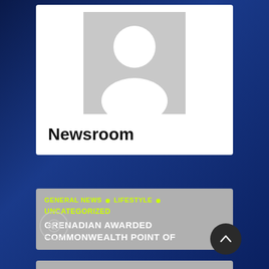[Figure (photo): Gray placeholder avatar image showing a generic white silhouette of a person on gray background]
Newsroom
GENERAL NEWS • LIFESTYLE •
UNCATEGORIZED
GRENADIAN AWARDED COMMONWEALTH POINT OF